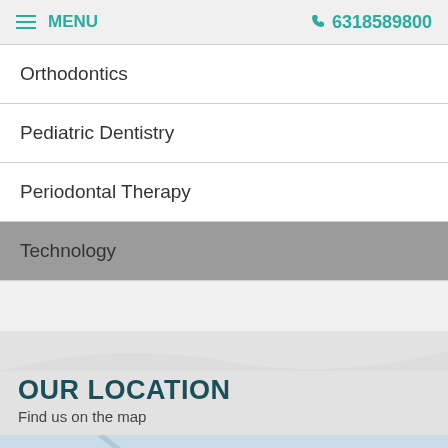MENU  6318589800
Orthodontics
Pediatric Dentistry
Periodontal Therapy
Technology
OUR LOCATION
Find us on the map
[Figure (map): Map with accessibility view button and zoom controls]